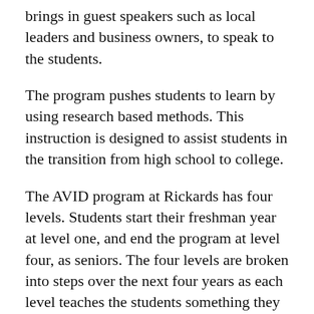brings in guest speakers such as local leaders and business owners, to speak to the students.
The program pushes students to learn by using research based methods. This instruction is designed to assist students in the transition from high school to college.
The AVID program at Rickards has four levels. Students start their freshman year at level one, and end the program at level four, as seniors. The four levels are broken into steps over the next four years as each level teaches the students something they did not learn in the previous level.
Hankerson monitors the students all four years to make sure they are on the collegiate track. The end